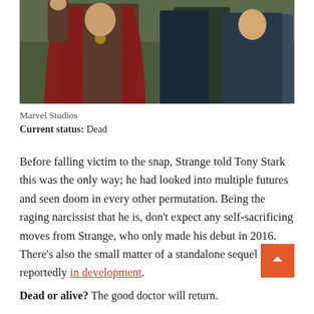[Figure (photo): Movie still from Avengers: Infinity War showing Doctor Strange in his red cape alongside other Marvel heroes against a green background]
Marvel Studios
Current status: Dead
Before falling victim to the snap, Strange told Tony Stark this was the only way; he had looked into multiple futures and seen doom in every other permutation. Being the raging narcissist that he is, don't expect any self-sacrificing moves from Strange, who only made his debut in 2016. There's also the small matter of a standalone sequel reportedly in development.
Dead or alive? The good doctor will return.